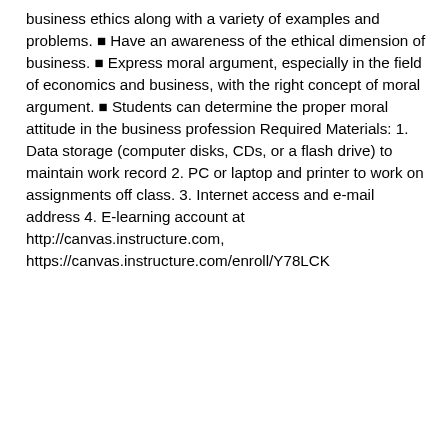business ethics along with a variety of examples and problems. ■ Have an awareness of the ethical dimension of business. ■ Express moral argument, especially in the field of economics and business, with the right concept of moral argument. ■ Students can determine the proper moral attitude in the business profession Required Materials: 1. Data storage (computer disks, CDs, or a flash drive) to maintain work record 2. PC or laptop and printer to work on assignments off class. 3. Internet access and e-mail address 4. E-learning account at http://canvas.instructure.com, https://canvas.instructure.com/enroll/Y78LCK